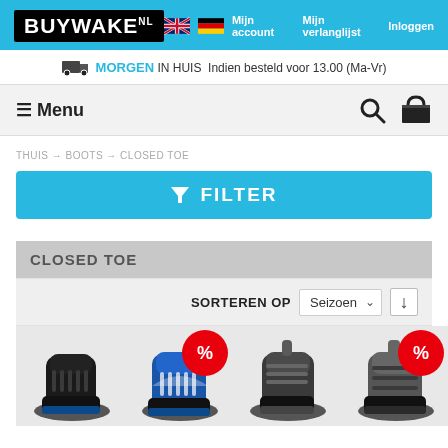[Figure (logo): BUYWAKE.NL logo in black box with white text]
Mijn account   Mijn verlanglijst   Inloggen
MORGEN IN HUIS  Indien besteld voor 13.00 (Ma-Vr)
≡ Menu
THUIS → BOOTS → CLOSED TOE
FILTER
CLOSED TOE
SORTEREN OP  Seizoen  ↓
[Figure (photo): Four wakeboard boot product images, two with red % discount badges]
[Figure (photo): Wakeboard boot 1 - black boot]
[Figure (photo): Wakeboard boot 2 - blue/white boot with red % badge]
[Figure (photo): Wakeboard boot 3 - dark grey boot]
[Figure (photo): Wakeboard boot 4 - grey/black boot with red % badge]